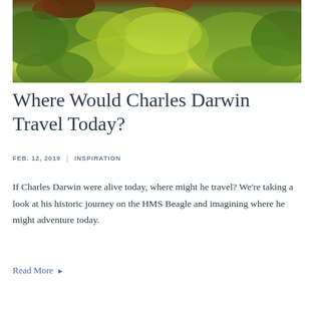[Figure (photo): Photograph of lush green tropical vegetation with what appears to be an orangutan or similar animal partially visible at the top, surrounded by dense jungle foliage.]
Where Would Charles Darwin Travel Today?
FEB. 12, 2019  |  INSPIRATION
If Charles Darwin were alive today, where might he travel? We're taking a look at his historic journey on the HMS Beagle and imagining where he might adventure today.
Read More ►